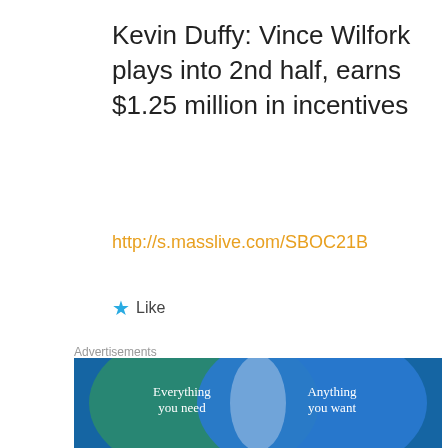Kevin Duffy: Vince Wilfork plays into 2nd half, earns $1.25 million in incentives
http://s.masslive.com/SBOC21B
★ Like
Advertisements
[Figure (illustration): WordPress.com advertisement showing a Venn diagram with two overlapping circles on a teal/blue background. Left circle (teal/green) labeled 'Everything you need', right circle (blue) labeled 'Anything you want'. Bottom has a pink button 'Build Your Website' and WordPress.com logo.]